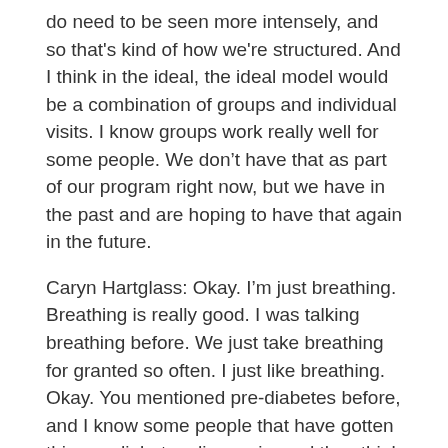do need to be seen more intensely, and so that's kind of how we're structured. And I think in the ideal, the ideal model would be a combination of groups and individual visits. I know groups work really well for some people. We don't have that as part of our program right now, but we have in the past and are hoping to have that again in the future.
Caryn Hartglass: Okay. I'm just breathing. Breathing is really good. I was talking breathing before. We just take breathing for granted so often. I just like breathing. Okay. You mentioned pre-diabetes before, and I know some people that have gotten this pre-diabetes diagnosis, and they think they're okay, and my understanding is pre-diabetes really is too soft a term for what it is. How do you feel about pre-diabetes?
Dr. Michelle McMacken: I mean the last time I reviewed the literature on this, I think what I saw was that about – on average, about 40 to 50 percent of people with pre-diabetes go onto develop full-on type 2 diabetes. However, you're right. It's not just a number on your blood test results where you're fine, and then